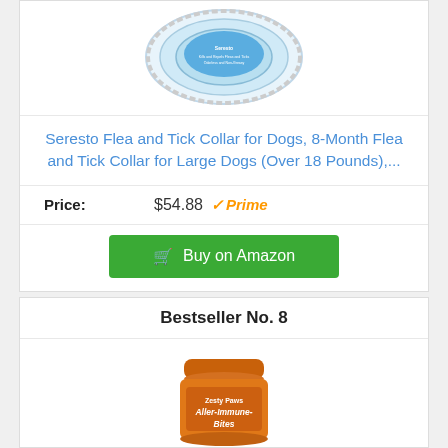[Figure (photo): Seresto flea and tick collar product image — circular collar package with blue labeling]
Seresto Flea and Tick Collar for Dogs, 8-Month Flea and Tick Collar for Large Dogs (Over 18 Pounds),...
Price: $54.88 ✓Prime
Buy on Amazon
Bestseller No. 8
[Figure (photo): Zesty Paws Aller-Immune Bites product image — orange canister jar]